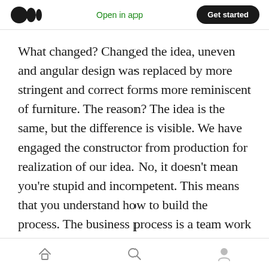Open in app  Get started
What changed? Changed the idea, uneven and angular design was replaced by more stringent and correct forms more reminiscent of furniture. The reason? The idea is the same, but the difference is visible. We have engaged the constructor from production for realization of our idea. No, it doesn’t mean you’re stupid and incompetent. This means that you understand how to build the process. The business process is a team work and for the implementation of the order, You need a technician who performs every day work in the workplace. He sees those
home  search  profile